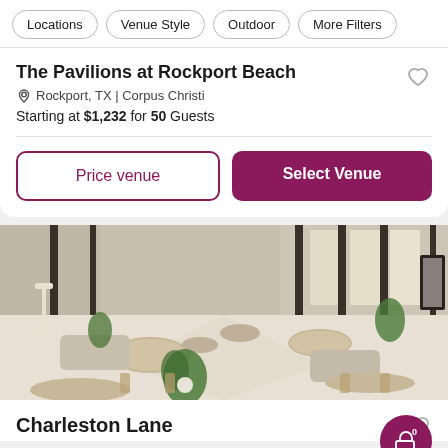Locations | Venue Style | Outdoor | More Filters
The Pavilions at Rockport Beach
Rockport, TX | Corpus Christi
Starting at $1,232 for 50 Guests
Price venue
Select Venue
[Figure (photo): Interior of The Pavilions at Rockport Beach event venue showing elegant setup with round tables, gold chairs, cream linens, tropical plants, lounge seating, and large windows with natural light]
Charleston Lane